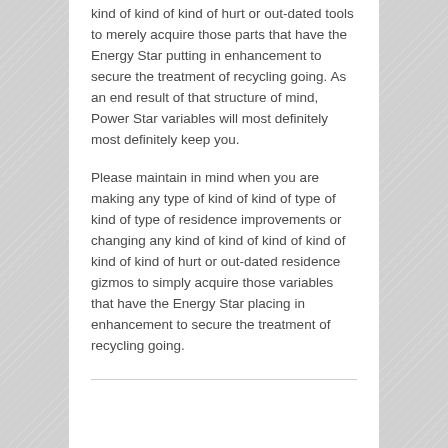kind of kind of kind of hurt or out-dated tools to merely acquire those parts that have the Energy Star putting in enhancement to secure the treatment of recycling going. As an end result of that structure of mind, Power Star variables will most definitely most definitely keep you.
Please maintain in mind when you are making any type of kind of kind of type of kind of type of residence improvements or changing any kind of kind of kind of kind of kind of kind of hurt or out-dated residence gizmos to simply acquire those variables that have the Energy Star placing in enhancement to secure the treatment of recycling going.